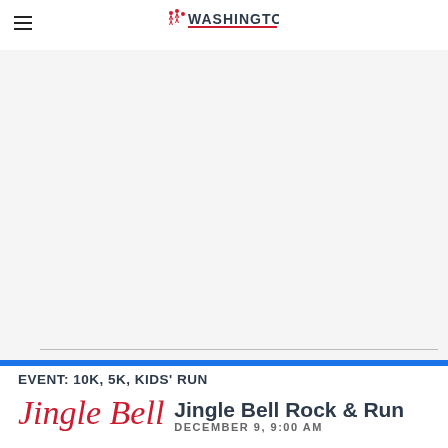Running Washington (logo)
[Figure (other): Large blank/advertisement area with a horizontal rule near the bottom]
EVENT: 10K, 5K, KIDS' RUN
Jingle Bell  Jingle Bell Rock & Run  DECEMBER 9, 9:00 AM